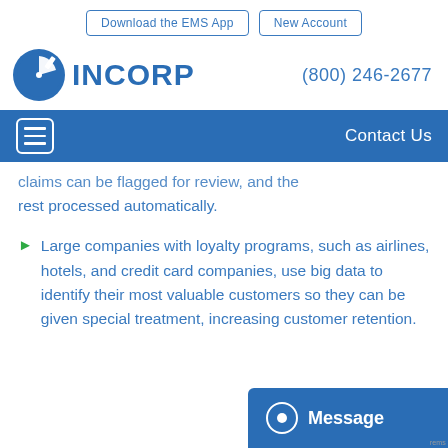Download the EMS App   New Account
[Figure (logo): INCORP logo with blue circle clock icon and text INCORP]
(800) 246-2677
Contact Us
claims can be flagged for review, and the rest processed automatically.
Large companies with loyalty programs, such as airlines, hotels, and credit card companies, use big data to identify their most valuable customers so they can be given special treatment, increasing customer retention.